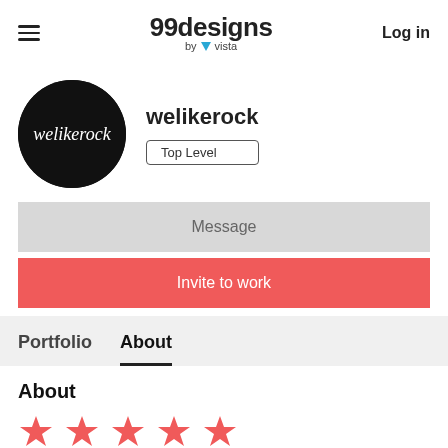99designs by vista  Log in
[Figure (logo): Circular black logo with welikerock cursive script in white]
welikerock
Top Level
Message
Invite to work
Portfolio  About
About
[Figure (illustration): Five red/coral star rating icons]